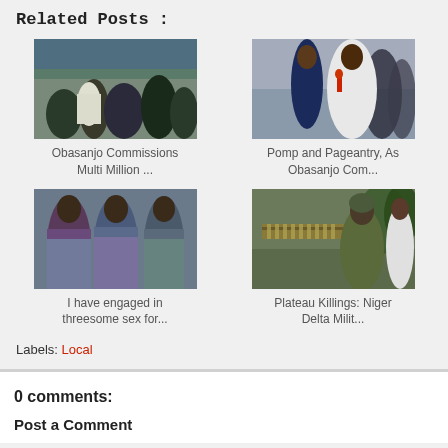Related Posts :
[Figure (photo): Group of people at an outdoor event, official-looking gathering]
Obasanjo Commissions Multi Million ...
[Figure (photo): Man in agbada holding red microphone at outdoor event]
Pomp and Pageantry, As Obasanjo Com...
[Figure (photo): Three young women in colorful patterned outfits]
I have engaged in threesome sex for...
[Figure (photo): Soldiers with ammunition belts and weapons]
Plateau Killings: Niger Delta Milit...
Labels: Local
0 comments:
Post a Comment